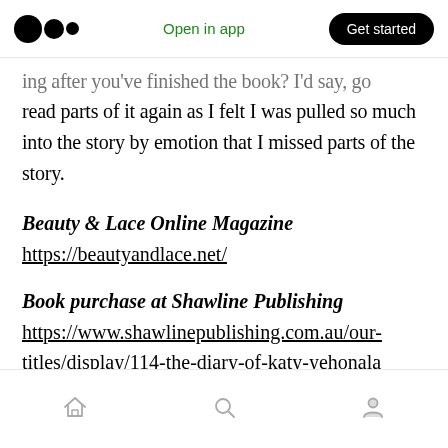Open in app | Get started
...ing after you've finished the book? I'd say, go read parts of it again as I felt I was pulled so much into the story by emotion that I missed parts of the story.
Beauty & Lace Online Magazine
https://beautyandlace.net/
Book purchase at Shawline Publishing
https://www.shawlinepublishing.com.au/our-titles/display/114-the-diary-of-katy-yehonala
Author site www.robertbarclay.com.au
Home | Search | Profile